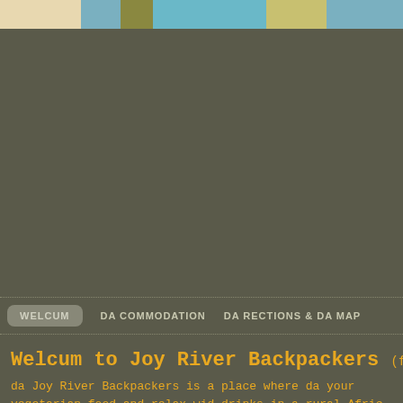[Figure (other): Top color bar with segments of tan, teal, olive, light blue, yellow-green, teal colors]
WELCUM   DA COMMODATION   DA RECTIONS & DA MAP
Welcum to Joy River Backpackers (for Qu...
da Joy River Backpackers is a place where da your vegetarian food and relax wid drinks in a rural Afric makes dis an obvious stopover and launch pad to da is situated right opposite da entrance to da Bourk nearby site seeing venues would include Pilgrim's Rest, Lisbon Falls.